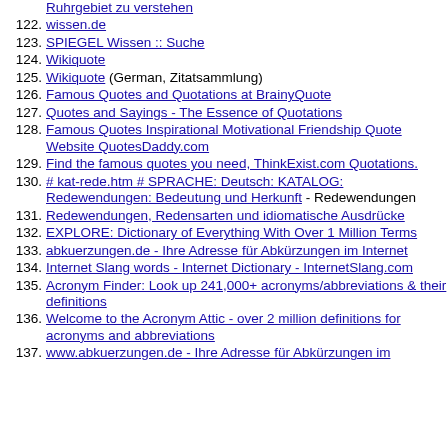Ruhrgebiet zu verstehen
122. wissen.de
123. SPIEGEL Wissen :: Suche
124. Wikiquote
125. Wikiquote (German, Zitatsammlung)
126. Famous Quotes and Quotations at BrainyQuote
127. Quotes and Sayings - The Essence of Quotations
128. Famous Quotes Inspirational Motivational Friendship Quote Website QuotesDaddy.com
129. Find the famous quotes you need, ThinkExist.com Quotations.
130. # kat-rede.htm # SPRACHE: Deutsch: KATALOG: Redewendungen: Bedeutung und Herkunft - Redewendungen
131. Redewendungen, Redensarten und idiomatische Ausdrücke
132. EXPLORE: Dictionary of Everything With Over 1 Million Terms
133. abkuerzungen.de - Ihre Adresse für Abkürzungen im Internet
134. Internet Slang words - Internet Dictionary - InternetSlang.com
135. Acronym Finder: Look up 241,000+ acronyms/abbreviations & their definitions
136. Welcome to the Acronym Attic - over 2 million definitions for acronyms and abbreviations
137. www.abkuerzungen.de - Ihre Adresse für Abkürzungen im